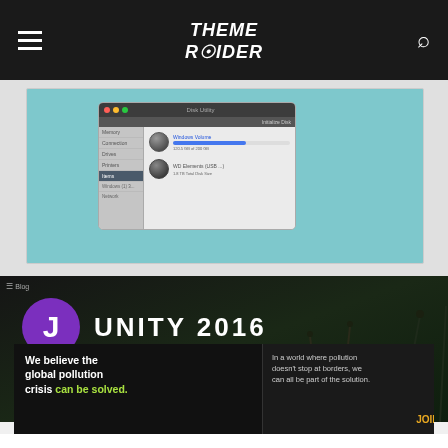Theme Raider
[Figure (screenshot): Screenshot of a macOS-style disk utility or Finder window showing disk drive items with progress bars, set against a light blue/teal desktop background]
[Figure (screenshot): Unity 2016 website or app interface thumbnail with purple avatar circle showing letter J, white text UNITY 2016, dark nature/grass background]
[Figure (infographic): Pure Earth advertisement banner: black background left side with white bold text 'We believe the global pollution crisis can be solved.' with green 'can be solved.' and middle text 'In a world where pollution doesn't stop at borders, we can all be part of the solution. JOIN US.' in orange; right side white background with Pure Earth diamond logo and PURE EARTH text]